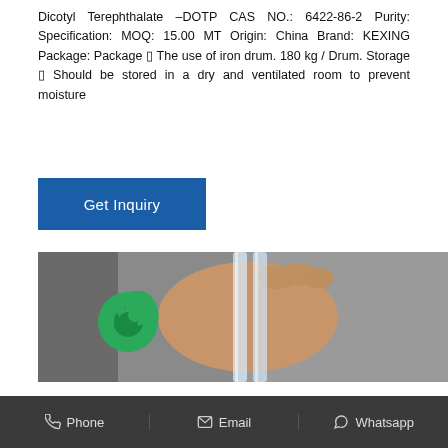Dicotyl Terephthalate –DOTP CAS NO.: 6422-86-2 Purity: Specification: MOQ: 15.00 MT Origin: China Brand: KEXING Package: Package ⁇ The use of iron drum. 180 kg / Drum. Storage ⁇ Should be stored in a dry and ventilated room to prevent moisture
Get Inquiry
[Figure (photo): A hand holding two clear acrylic or glass rods/tubes against a grey background. A green spiral/loop logo is overlaid on the left side of the image.]
Phone   Email   Whatsapp